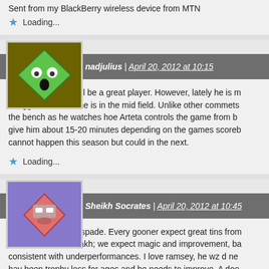Sent from my BlackBerry wireless device from MTN
Loading...
nadjulius | April 20, 2012 at 10:15
I beleev Ramsey will be a great player. However, lately he is m struggle alot when he is in the mid field. Unlike other commets the bench as he watches hoe Arteta controls the game from b give him about 15-20 minutes depending on the games scoreb cannot happen this season but could in the next.
Loading...
Sheikh Socrates | April 20, 2012 at 10:45
Lets call a spade a spade. Every gooner expect great tins from asharvin and chamakh; we expect magic and improvement, ba consistent with underperformances. I love ramsey, he wz d ne hav been trophy loss for ages and he needs to improve. A doo